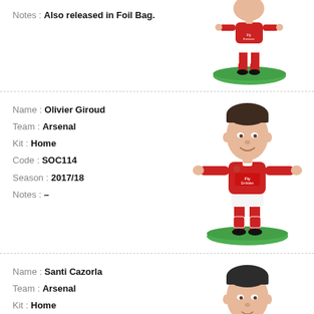Notes : Also released in Foil Bag.
[Figure (photo): SoccerStarz figurine of an Arsenal player on a green base, partially cropped at top.]
Name : Olivier Giroud | Team : Arsenal | Kit : Home | Code : SOC114 | Season : 2017/18 | Notes : –
[Figure (photo): SoccerStarz figurine of Olivier Giroud in Arsenal home kit on a green base.]
Name : Santi Cazorla | Team : Arsenal | Kit : Home | Code : SOC115
[Figure (photo): SoccerStarz figurine of Santi Cazorla in Arsenal home kit, partially cropped at bottom.]